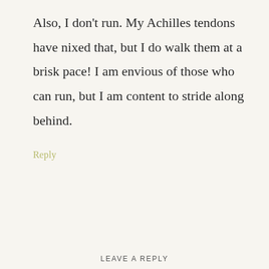Also, I don't run. My Achilles tendons have nixed that, but I do walk them at a brisk pace! I am envious of those who can run, but I am content to stride along behind.
Reply
LEAVE A REPLY